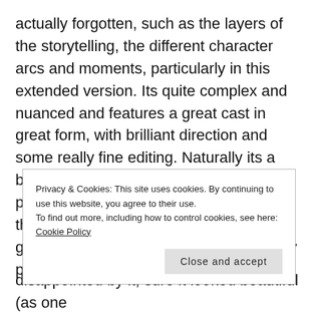actually forgotten, such as the layers of the storytelling, the different character arcs and moments, particularly in this extended version. Its quite complex and nuanced and features a great cast in great form, with brilliant direction and some really fine editing. Naturally its a beautiful-looking film, but some of the pacing and composition work… really, its the director at the absolute peak of his game, here. I can't really understand why people talk about Ridley and
Privacy & Cookies: This site uses cookies. By continuing to use this website, you agree to their use.
To find out more, including how to control cookies, see here: Cookie Policy
disappointed by it; sure it looked beautiful (as one